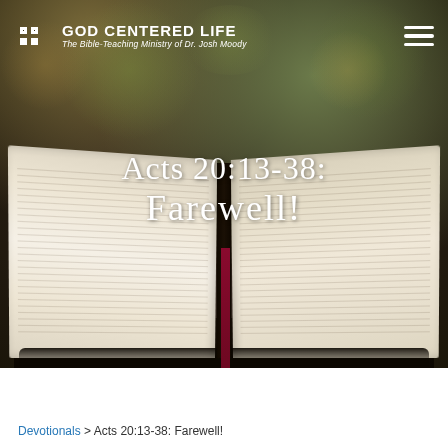[Figure (screenshot): Hero image of an open Bible with red bookmark on a dark surface, blurred autumn background. Website header for 'God Centered Life' ministry by Dr. Josh Moody.]
GOD CENTERED LIFE – The Bible-Teaching Ministry of Dr. Josh Moody
Acts 20:13-38: Farewell!
Devotionals > Acts 20:13-38: Farewell!